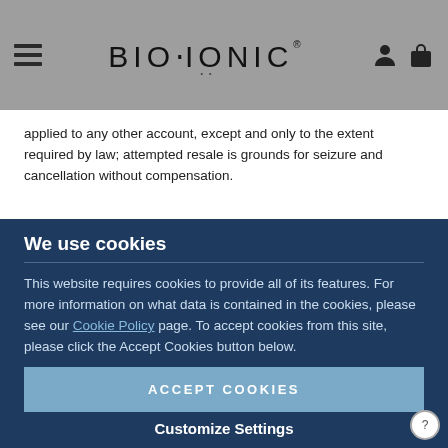BIO:IONIC
applied to any other account, except and only to the extent required by law; attempted resale is grounds for seizure and cancellation without compensation.
6. Products obtained through unauthorized channels will be considered void.
We use cookies
This website requires cookies to provide all of its features. For more information on what data is contained in the cookies, please see our Cookie Policy page. To accept cookies from this site, please click the Accept Cookies button below.
ACCEPT COOKIES
Customize Settings
7.1 The price of the Products will be the price in force at the time We confirm your Order. Prices may change at any time, but changes will not affect Orders that We ha...